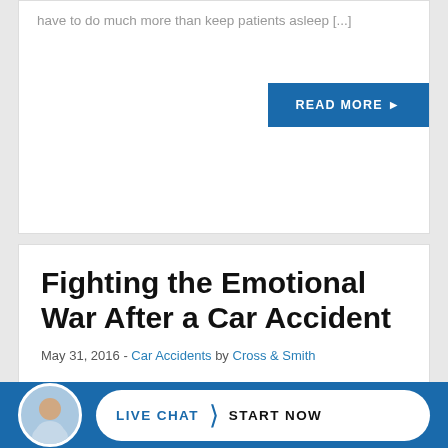have to do much more than keep patients asleep [...]
READ MORE ▶
Fighting the Emotional War After a Car Accident
May 31, 2016 - Car Accidents by Cross & Smith
Our Tuscaloosa car accident attorneys have helped countless victims who suffered serious injuries all because another party failed to exercise due care. Physical injuries can take a long time to heal, and they can also leave victims with permanent disabilities. Rega... of th...
LIVE CHAT  START NOW